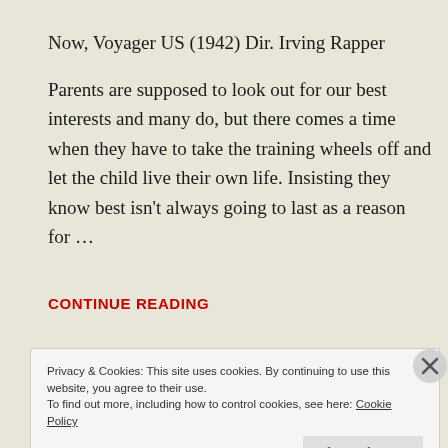Now, Voyager US (1942) Dir. Irving Rapper
Parents are supposed to look out for our best interests and many do, but there comes a time when they have to take the training wheels off and let the child live their own life. Insisting they know best isn't always going to last as a reason for …
CONTINUE READING
Privacy & Cookies: This site uses cookies. By continuing to use this website, you agree to their use.
To find out more, including how to control cookies, see here: Cookie Policy